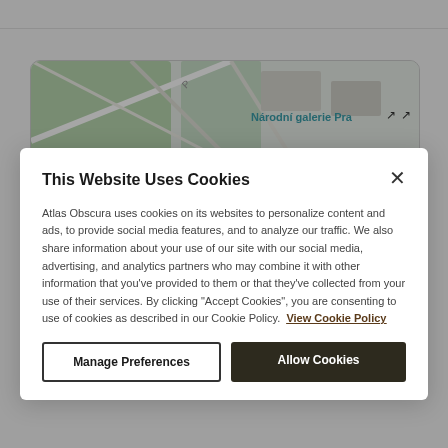[Figure (screenshot): Cookie consent dialog overlay on Atlas Obscura website showing a map of Národní galerie Praha in the background]
This Website Uses Cookies
Atlas Obscura uses cookies on its websites to personalize content and ads, to provide social media features, and to analyze our traffic. We also share information about your use of our site with our social media, advertising, and analytics partners who may combine it with other information that you've provided to them or that they've collected from your use of their services. By clicking "Accept Cookies", you are consenting to use of cookies as described in our Cookie Policy. View Cookie Policy
Manage Preferences
Allow Cookies